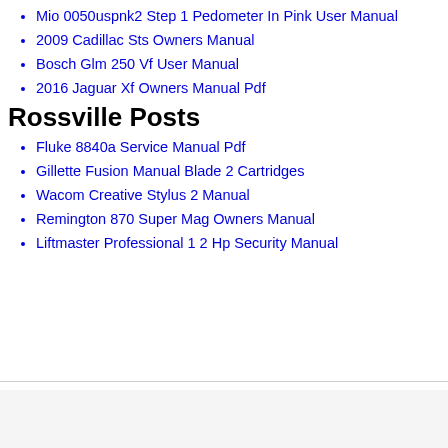Mio 0050uspnk2 Step 1 Pedometer In Pink User Manual
2009 Cadillac Sts Owners Manual
Bosch Glm 250 Vf User Manual
2016 Jaguar Xf Owners Manual Pdf
Rossville Posts
Fluke 8840a Service Manual Pdf
Gillette Fusion Manual Blade 2 Cartridges
Wacom Creative Stylus 2 Manual
Remington 870 Super Mag Owners Manual
Liftmaster Professional 1 2 Hp Security Manual